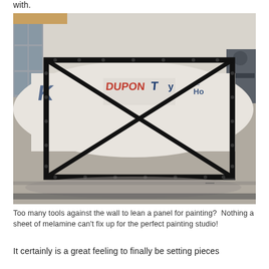with.
[Figure (photo): A black metal rectangular frame with diagonal support bars, laid flat on a white drop cloth (Tyvek/DuPont brand) on a concrete floor in a workshop. Metal lockers and a welding machine are visible in the background.]
Too many tools against the wall to lean a panel for painting?  Nothing a sheet of melamine can't fix up for the perfect painting studio!
It certainly is a great feeling to finally be setting pieces